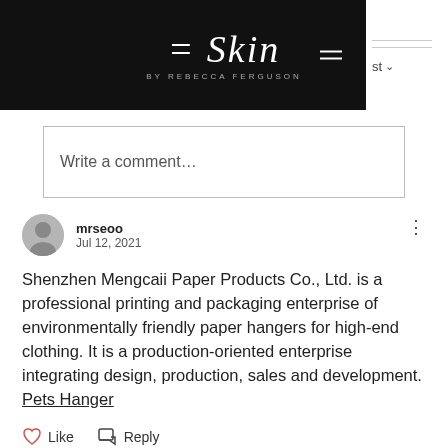[Figure (logo): Skin by Rebecca Ferguson logo in script font on black background with hamburger menu icon]
Write a comment…
mrseoo
Jul 12, 2021
Shenzhen Mengcaii Paper Products Co., Ltd. is a professional printing and packaging enterprise of environmentally friendly paper hangers for high-end clothing. It is a production-oriented enterprise integrating design, production, sales and development. Pets Hanger
Like   Reply